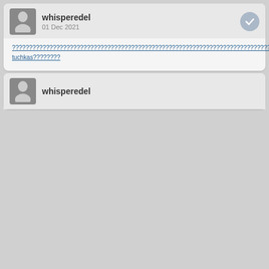whisperedel
01 Dec 2021
????????????????????????????????????????????????????????????????????????????????????????????????????????????????????????????????????????????????????????????????????????????????????????????????????????????????????????????????????????????????????????????????????????????????????????????????????????????????????????????????????????????????????????????????????????????????????????????????????????????????????????????????????????????????????????????????????????????????????????????????????????????????????????????????????????????????????????????????????????????????????????????????????????????????????????????????????????????????????????????????????????????????????????????????????????????????????????????????????????????????????????????????????????????????????????????????tuchkas????????
whisperedel